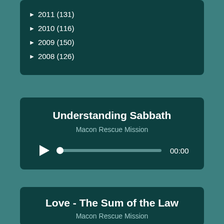► 2011 (131)
► 2010 (116)
► 2009 (150)
► 2008 (126)
Understanding Sabbath
Macon Rescue Mission
00:00
Love - The Sum of the Law
Macon Rescue Mission